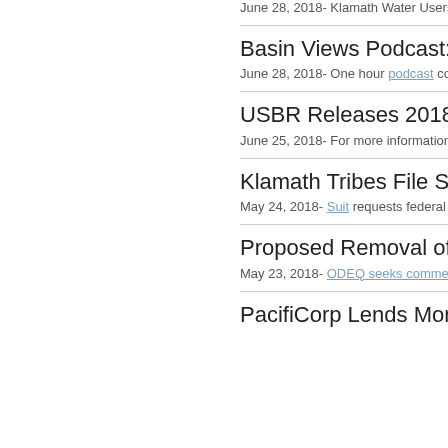June 28, 2018- Klamath Water Users As
Basin Views Podcast: Don
June 28, 2018- One hour podcast cover
USBR Releases 2018 Kla
June 25, 2018- For more information, pl
Klamath Tribes File Suit U
May 24, 2018- Suit requests federal age
Proposed Removal of J.C.
May 23, 2018- ODEQ seeks comments
PacifiCorp Lends More Wa